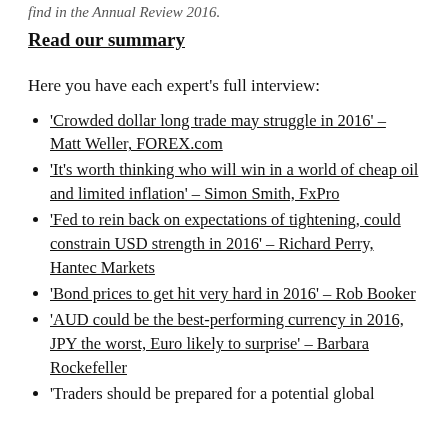find in the Annual Review 2016.
Read our summary
Here you have each expert's full interview:
‘Crowded dollar long trade may struggle in 2016’ – Matt Weller, FOREX.com
‘It’s worth thinking who will win in a world of cheap oil and limited inflation’ – Simon Smith, FxPro
‘Fed to rein back on expectations of tightening, could constrain USD strength in 2016’ – Richard Perry, Hantec Markets
‘Bond prices to get hit very hard in 2016’ – Rob Booker
‘AUD could be the best-performing currency in 2016, JPY the worst, Euro likely to surprise’ – Barbara Rockefeller
‘Traders should be prepared for a potential global